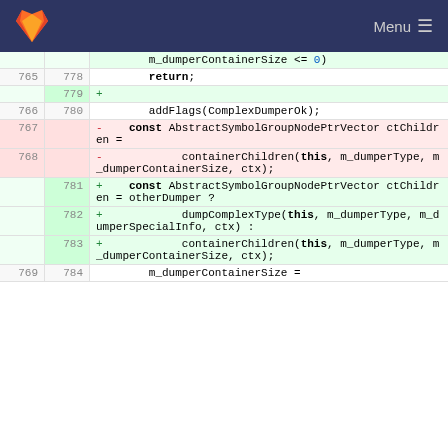GitLab Menu
[Figure (screenshot): Code diff view showing changes to a C++ source file with line numbers, removed lines (pink background) and added lines (green background). Shows modifications to variable assignments involving containerChildren, dumpComplexType, m_dumperType, m_dumperContainerSize, m_dumperSpecialInfo, and ctx parameters.]